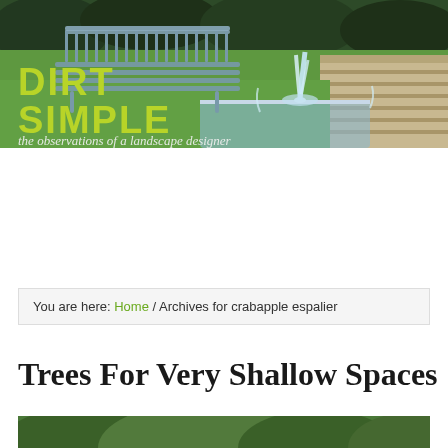[Figure (photo): Header banner of Dirt Simple blog showing a garden scene with a metal park bench, a water fountain feature, green lawn, and hedges in the background. Overlaid with 'DIRT SIMPLE' in yellow-green bold text and 'the observations of a landscape designer' in white script text below.]
You are here: Home / Archives for crabapple espalier
Trees For Very Shallow Spaces
[Figure (photo): Partial view of trees with green foliage, bottom of page, cropped.]